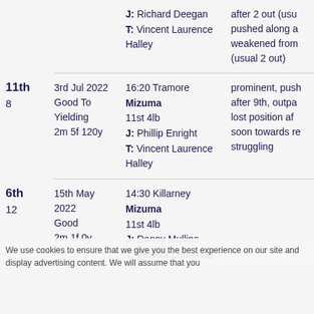| Position/Runners | Date/Going/Distance | Race/Horse/Weight/Jockey/Trainer | Comment |
| --- | --- | --- | --- |
|  |  | J: Richard Deegan
T: Vincent Laurence Halley | after 2 out (usu pushed along a weakened from (usual 2 out) |
| 11th
8 | 3rd Jul 2022
Good To Yielding
2m 5f 120y | 16:20 Tramore
Mizuma
11st 4lb
J: Phillip Enright
T: Vincent Laurence Halley | prominent, push after 9th, outpa lost position af soon towards re struggling |
| 6th
12 | 15th May 2022
Good
2m 1f 0y | 14:30 Killarney
Mizuma
11st 4lb
J: Danny Mullins
T: Vincent Laurence |  |